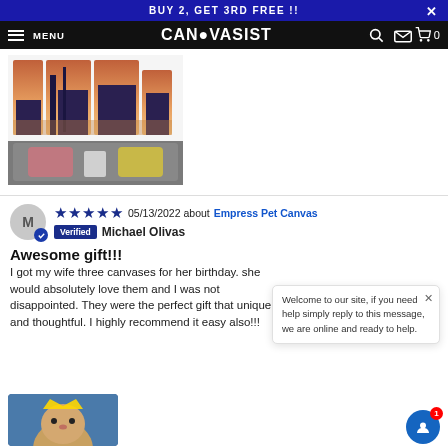BUY 2, GET 3RD FREE !!
CANVASIST  MENU  0
[Figure (photo): Canvas wall art product photo showing a multi-panel cityscape (Toronto skyline at sunset) displayed above a gray sofa with pink and yellow pillows]
★★★★★ 05/13/2022 about Empress Pet Canvas  Verified  Michael Olivas
Awesome gift!!!
I got my wife three canvases for her birthday. she would absolutely love them and I was not disappointed. They were the perfect gift that unique and thoughtful. I highly recommend it easy also!!!
Welcome to our site, if you need help simply reply to this message, we are online and ready to help.
[Figure (photo): Canvas print of a dog wearing a royal crown costume on a blue background]